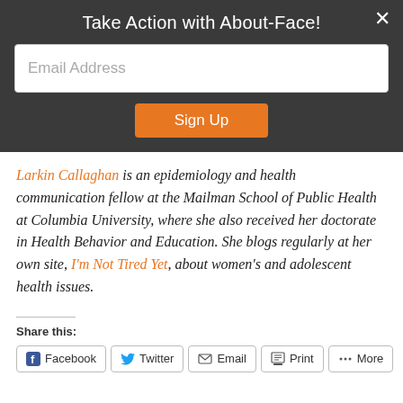Take Action with About-Face!
[Figure (screenshot): Email address input field]
[Figure (screenshot): Sign Up button]
Larkin Callaghan is an epidemiology and health communication fellow at the Mailman School of Public Health at Columbia University, where she also received her doctorate in Health Behavior and Education. She blogs regularly at her own site, I'm Not Tired Yet, about women's and adolescent health issues.
Share this:
Facebook | Twitter | Email | Print | More